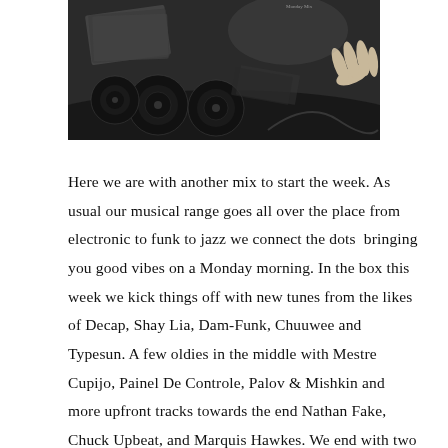[Figure (photo): Black and white photograph of vinyl records and other music paraphernalia scattered on a surface, with a hand visible on the right side.]
Here we are with another mix to start the week. As usual our musical range goes all over the place from electronic to funk to jazz we connect the dots  bringing you good vibes on a Monday morning. In the box this week we kick things off with new tunes from the likes of Decap, Shay Lia, Dam-Funk, Chuuwee and Typesun. A few oldies in the middle with Mestre Cupijo, Painel De Controle, Palov & Mishkin and more upfront tracks towards the end Nathan Fake, Chuck Upbeat, and Marquis Hawkes. We end with two tracks that have been in heavy rotation all of last week, one from Kadhja Bonet  and the other from Daymé